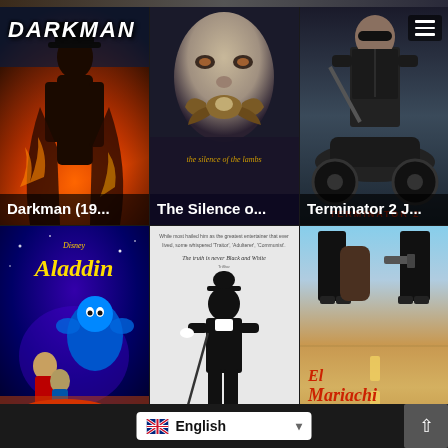[Figure (photo): Movie poster grid showing 6 films: Darkman (1990), The Silence of the Lambs, Terminator 2 Judgment Day, Aladdin (1992), Chaplin (1992), El Mariachi in a 3x2 grid layout with title overlays]
Darkman (19...
The Silence o...
Terminator 2 J...
Aladdin (1992)
Chaplin (1992)
El Mariachi (1...
English